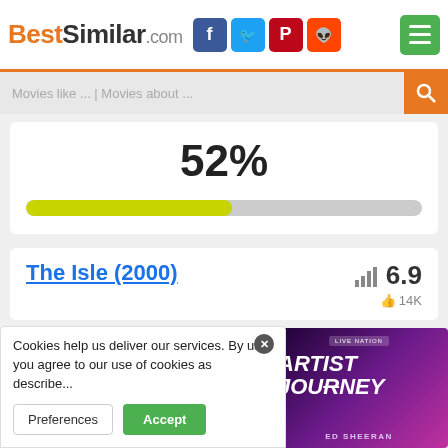BestSimilar.com
Movies like ... | Movies about ...
[Figure (infographic): 52% similarity score with a yellow-green progress bar showing 52% fill]
The Isle (2000) — rating 6.9, 14K likes
[Figure (screenshot): Movie thumbnail showing 18+ rating badge and Show button, with an ad overlay for Live Nation Artist Journey featuring Ed Sheeran]
Cookies help us deliver our services. By us... you agree to our use of cookies as describe...
Preferences | Accept